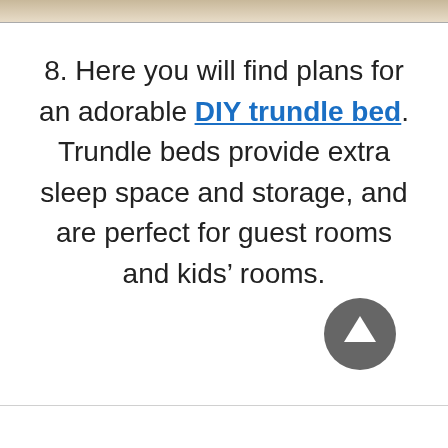[Figure (photo): Partial photo visible at top of page, appears to be an interior/furniture image in muted beige tones]
8. Here you will find plans for an adorable DIY trundle bed. Trundle beds provide extra sleep space and storage, and are perfect for guest rooms and kids’ rooms.
[Figure (other): Dark grey circular scroll-to-top button with white upward arrow icon]